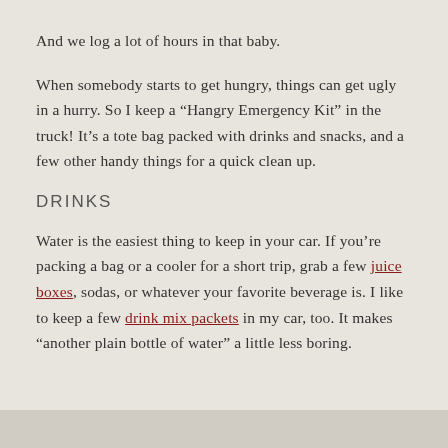And we log a lot of hours in that baby.
When somebody starts to get hungry, things can get ugly in a hurry. So I keep a “Hangry Emergency Kit” in the truck! It’s a tote bag packed with drinks and snacks, and a few other handy things for a quick clean up.
DRINKS
Water is the easiest thing to keep in your car. If you’re packing a bag or a cooler for a short trip, grab a few juice boxes, sodas, or whatever your favorite beverage is. I like to keep a few drink mix packets in my car, too. It makes “another plain bottle of water” a little less boring.